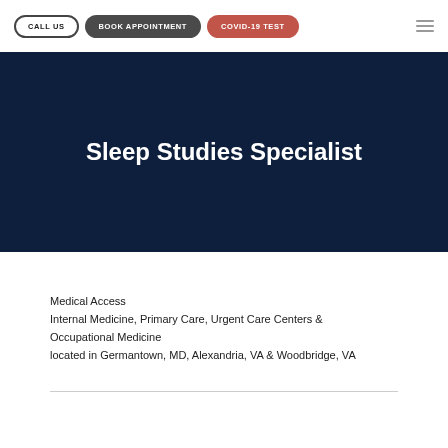CALL US | BOOK APPOINTMENT | COVID-19 TEST
Sleep Studies Specialist
Medical Access
Internal Medicine, Primary Care, Urgent Care Centers & Occupational Medicine
located in Germantown, MD, Alexandria, VA & Woodbridge, VA